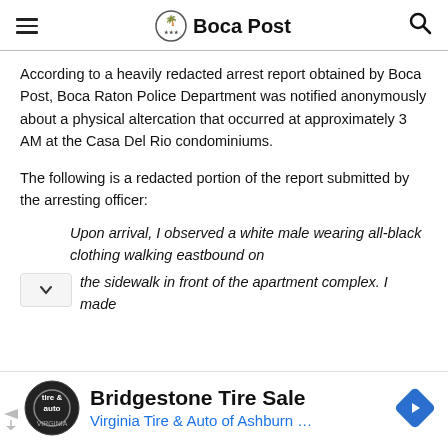Boca Post
According to a heavily redacted arrest report obtained by Boca Post, Boca Raton Police Department was notified anonymously about a physical altercation that occurred at approximately 3 AM at the Casa Del Rio condominiums.
The following is a redacted portion of the report submitted by the arresting officer:
Upon arrival, I observed a white male wearing all-black clothing walking eastbound on the sidewalk in front of the apartment complex. I made
[Figure (other): Advertisement banner for Bridgestone Tire Sale from Virginia Tire & Auto of Ashburn with logo and navigation icon]